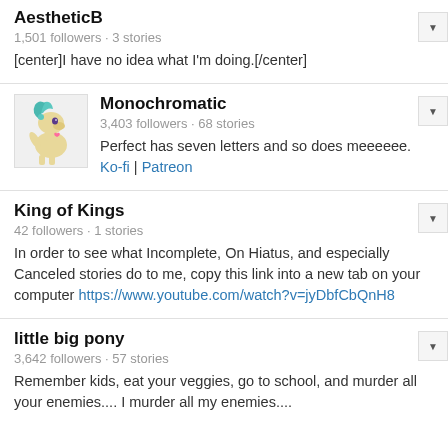AestheticB
1,501 followers · 3 stories
[center]I have no idea what I'm doing.[/center]
Monochromatic
3,403 followers · 68 stories
Perfect has seven letters and so does meeeeee. Ko-fi | Patreon
King of Kings
42 followers · 1 stories
In order to see what Incomplete, On Hiatus, and especially Canceled stories do to me, copy this link into a new tab on your computer https://www.youtube.com/watch?v=jyDbfCbQnH8
little big pony
3,642 followers · 57 stories
Remember kids, eat your veggies, go to school, and murder all your enemies.... I murder all my enemies....